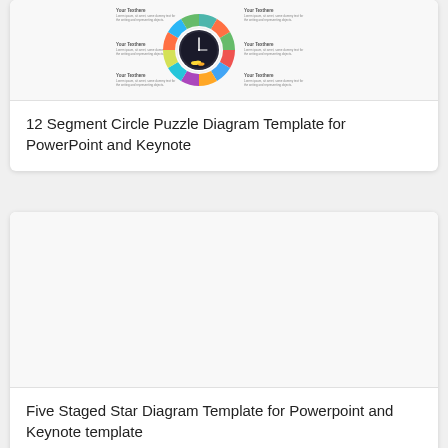[Figure (infographic): 12 segment colorful circle puzzle diagram with clock in center, showing 'Your Texthere' labels around the ring]
12 Segment Circle Puzzle Diagram Template for PowerPoint and Keynote
[Figure (illustration): Five Staged Star Diagram template image area (blank/loading)]
Five Staged Star Diagram Template for Powerpoint and Keynote template